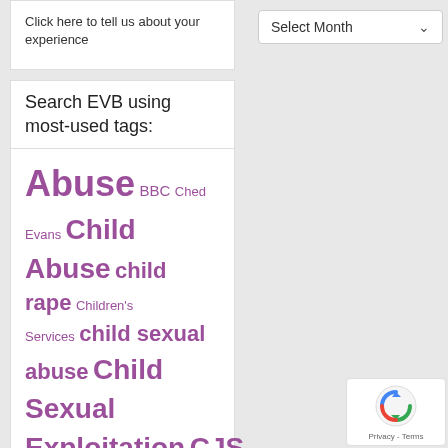Click here to tell us about your experience
Search EVB using most-used tags:
Abuse BBC Ched Evans Child Abuse child rape Children's Services child sexual abuse Child Sexual Exploitation CJS coercive control Consent Courts CPS criminal justice system Domestic Abuse
[Figure (screenshot): Select Month dropdown widget]
[Figure (screenshot): reCAPTCHA Privacy - Terms badge]